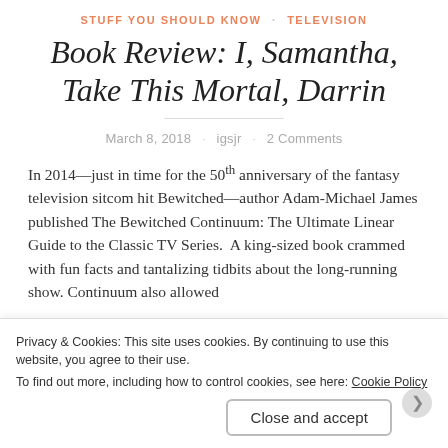STUFF YOU SHOULD KNOW · TELEVISION
Book Review: I, Samantha, Take This Mortal, Darrin
March 8, 2018 · igsjr · 2 Comments
In 2014—just in time for the 50th anniversary of the fantasy television sitcom hit Bewitched—author Adam-Michael James published The Bewitched Continuum: The Ultimate Linear Guide to the Classic TV Series.  A king-sized book crammed with fun facts and tantalizing tidbits about the long-running show. Continuum also allowed
Privacy & Cookies: This site uses cookies. By continuing to use this website, you agree to their use.
To find out more, including how to control cookies, see here: Cookie Policy
Close and accept